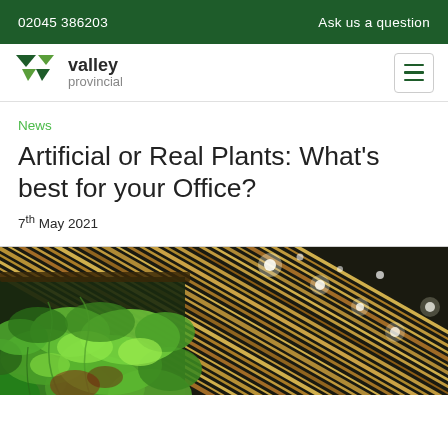02045 386203    Ask us a question
[Figure (logo): Valley Provincial logo with green V-arrow icon and company name]
News
Artificial or Real Plants: What's best for your Office?
7th May 2021
[Figure (photo): Photograph showing a lush green plant wall on the left and diagonal bamboo/wood slat ceiling with strip lighting on the right, taken in an interior space]